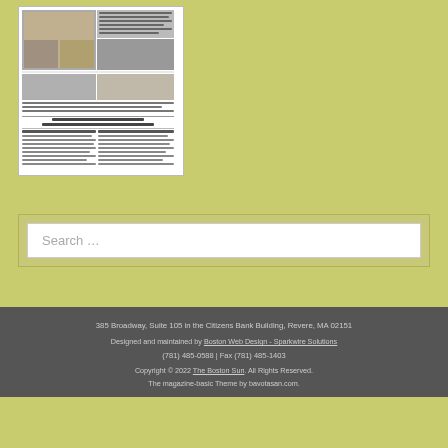[Figure (screenshot): Newspaper front page preview showing photos and article headlines including 'Swim Al fitness Hall holds grand opening celebration' and 'Cristo Park receives $10,000 earmarks – enough money to begin Phase One']
Search …
385 Broadway, Suite 105 in the Citizens Bank Building, Revere, MA 02151
Designed and maintained by Boston Web Design - Sparkwire Solutions
(781) 485-0588 | Fax (781) 485-1403
Copyright © 2022 The Boston Sun. All Rights Reserved.
The magazine-basic Theme by bavotasan.com.